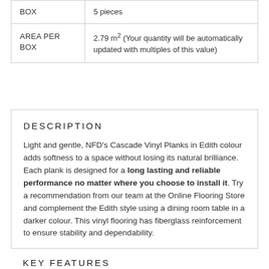| BOX | 5 pieces |
| AREA PER BOX | 2.79 m² (Your quantity will be automatically updated with multiples of this value) |
DESCRIPTION
Light and gentle, NFD's Cascade Vinyl Planks in Edith colour adds softness to a space without losing its natural brilliance. Each plank is designed for a long lasting and reliable performance no matter where you choose to install it. Try a recommendation from our team at the Online Flooring Store and complement the Edith style using a dining room table in a darker colour. This vinyl flooring has fiberglass reinforcement to ensure stability and dependability.
KEY FEATURES